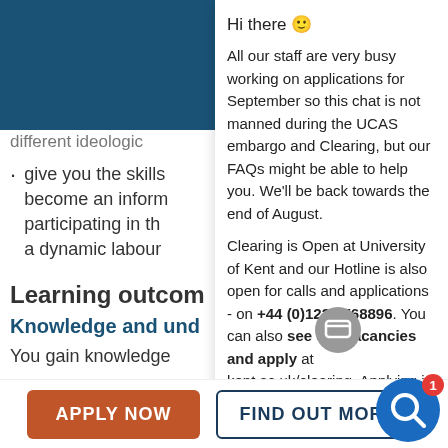different ideologic
give you the skills … become an inform … participating in th … a dynamic labour
Learning outcom
Knowledge and und
You gain knowledge
the origins and development of UK welfare institutions
Hi there 😊

All our staff are very busy working on applications for September so this chat is not manned during the UCAS embargo and Clearing, but our FAQs might be able to help you. We'll be back towards the end of August.

Clearing is Open at University of Kent and our Hotline is also open for calls and applications - on +44 (0)1227 768896. You can also see our vacancies and apply at kent.ac.uk/clearing. Applying is really straightforward and easy.
APPLY NOW
FIND OUT MORE